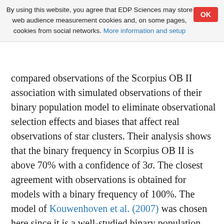By using this website, you agree that EDP Sciences may store web audience measurement cookies and, on some pages, cookies from social networks. More information and setup
compared observations of the Scorpius OB II association with simulated observations of their binary population model to eliminate observational selection effects and biases that affect real observations of star clusters. Their analysis shows that the binary frequency in Scorpius OB II is above 70% with a confidence of 3σ. The closest agreement with observations is obtained for models with a binary frequency of 100%. The model of Kouwenhoven et al. (2007) was chosen here since it is a well-studied binary population, close to its initial conditions. Scorpius OB II is a relatively young (about 5–20 Myr) and probably too sparse region to have undergone significant dynamical evolution.